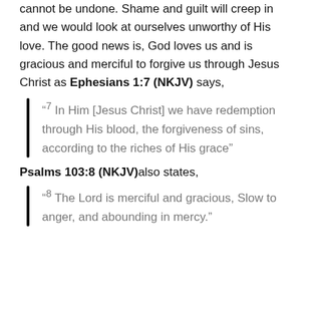cannot be undone. Shame and guilt will creep in and we would look at ourselves unworthy of His love. The good news is, God loves us and is gracious and merciful to forgive us through Jesus Christ as Ephesians 1:7 (NKJV) says,
“⁷ In Him [Jesus Christ] we have redemption through His blood, the forgiveness of sins, according to the riches of His grace”
Psalms 103:8 (NKJV)also states,
“⁸ The Lord is merciful and gracious, Slow to anger, and abounding in mercy.”